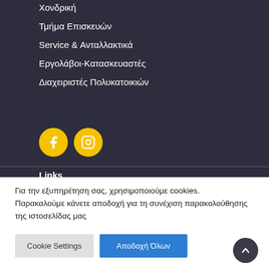Χονδρική
Τμήμα Επισκευών
Service & Ανταλλακτικά
Εργολάβοι-Κατασκευαστές
Διαχειριστές Πολυκατοικιών
[Figure (infographic): Two yellow circular social media icon buttons: Facebook and Instagram]
Links
Για την εξυπηρέτηση σας, χρησιμοποιούμε cookies. Παρακαλούμε κάνετε αποδοχή για τη συνέχιση παρακολούθησης της ιστοσελίδας μας
Cookie Settings | Αποδοχή Όλων